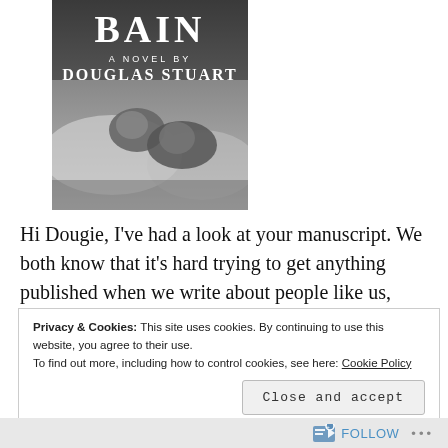[Figure (illustration): Book cover of 'Shuggie Bain: A Novel by Douglas Stuart' — black and white image showing two figures (a child and an adult) lying together on a bed with white bedding. Title 'BAIN' is at the top in large white serif letters, with 'A NOVEL BY' and 'DOUGLAS STUART' below in white.]
Hi Dougie, I've had a look at your manuscript. We both know that it's hard trying to get anything published when we write about people like us, using the language we speak
Privacy & Cookies: This site uses cookies. By continuing to use this website, you agree to their use.
To find out more, including how to control cookies, see here: Cookie Policy
Close and accept
FOLLOW